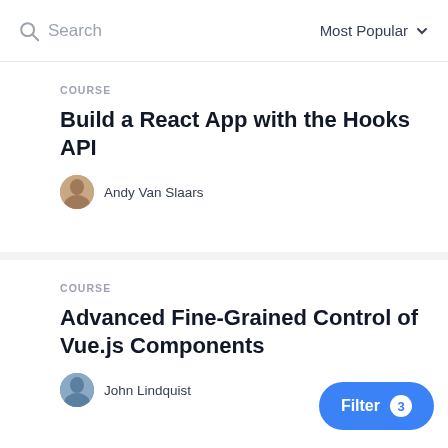Search | Most Popular
COURSE
Build a React App with the Hooks API
Andy Van Slaars
COURSE
Advanced Fine-Grained Control of Vue.js Components
John Lindquist
COURSE
Introduction to the Python 3 Programming Language
Will Button